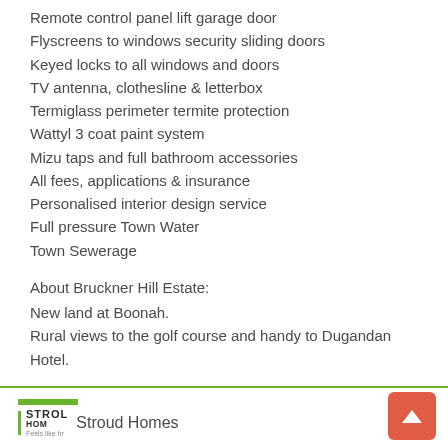Remote control panel lift garage door
Flyscreens to windows security sliding doors
Keyed locks to all windows and doors
TV antenna, clothesline & letterbox
Termiglass perimeter termite protection
Wattyl 3 coat paint system
Mizu taps and full bathroom accessories
All fees, applications & insurance
Personalised interior design service
Full pressure Town Water
Town Sewerage
About Bruckner Hill Estate:
New land at Boonah.
Rural views to the golf course and handy to Dugandan Hotel.
Stroud Homes